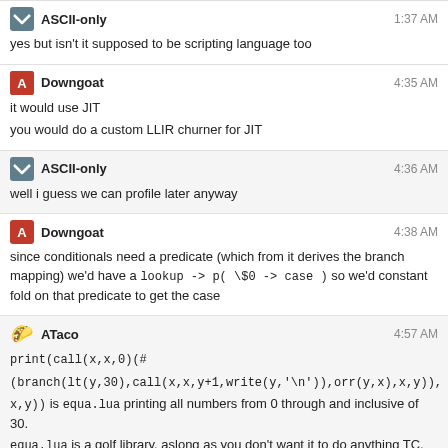yes but isn't it supposed to be scripting language too
Downgoat 4:35 AM
it would use JIT
you would do a custom LLIR churner for JIT
ASCII-only 4:36 AM
well i guess we can profile later anyway
Downgoat 4:38 AM
since conditionals need a predicate (which from it derives the branch mapping) we'd have a lookup -> p( \$0 -> case ) so we'd constant fold on that predicate to get the case
ATaco 4:57 AM
print(call(x,x,0)(#
(branch(lt(y,30),call(x,x,y+1,write(y,'\n')),orr(y,x),x,y)),
x,y)) is equa.lua printing all numbers from 0 through and inclusive of 30.
equa.lua is a golf library, aslong as you don't want it to do anything TC.
Pavel 5:25 AM
Why not implement loops
Also, is equa on tio?
ATaco 5:26 AM
floop(0,le(i,30),i+1,write(i,'\n'))
I implemented loops.